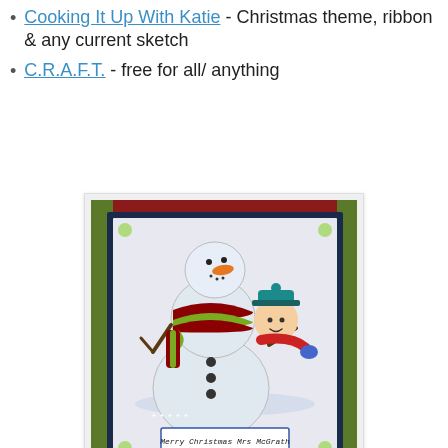Cooking It Up With Katie - Christmas theme, ribbon & any current sketch
C.R.A.F.T. - free for all/ anything
[Figure (photo): A handmade Christmas card featuring a snowman with a striped scarf and a small child peeking from behind, on a red patterned background with gem embellishments. Text reads 'Merry Christmas Mrs McGrath'.]